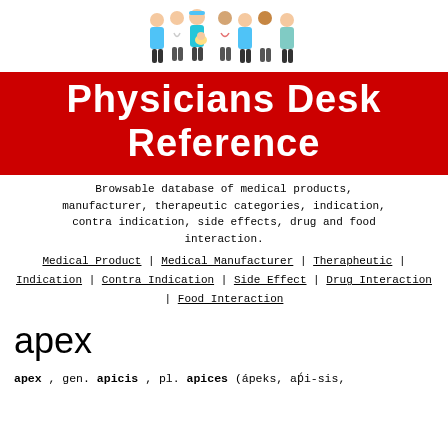[Figure (illustration): Cartoon illustration of a group of medical professionals (doctors and nurses) in scrubs and white coats]
Physicians Desk Reference
Browsable database of medical products, manufacturer, therapeutic categories, indication, contra indication, side effects, drug and food interaction.
Medical Product | Medical Manufacturer | Therapheutic | Indication | Contra Indication | Side Effect | Drug Interaction | Food Interaction
apex
apex , gen. apicis , pl. apices (a´peks, ap´i-sis,